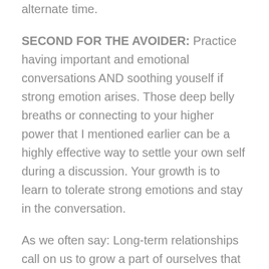alternate time.
SECOND FOR THE AVOIDER: Practice having important and emotional conversations AND soothing youself if strong emotion arises. Those deep belly breaths or connecting to your higher power that I mentioned earlier can be a highly effective way to settle your own self during a discussion. Your growth is to learn to tolerate strong emotions and stay in the conversation.
As we often say: Long-term relationships call on us to grow a part of ourselves that we need to develop.